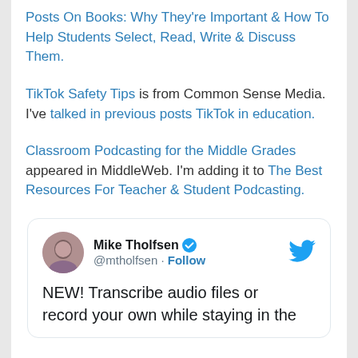Posts On Books: Why They're Important & How To Help Students Select, Read, Write & Discuss Them.
TikTok Safety Tips is from Common Sense Media. I've talked in previous posts TikTok in education.
Classroom Podcasting for the Middle Grades appeared in MiddleWeb. I'm adding it to The Best Resources For Teacher & Student Podcasting.
[Figure (screenshot): Tweet by Mike Tholfsen (@mtholfsen) with Twitter bird icon. Text reads: NEW! Transcribe audio files or record your own while staying in the...]